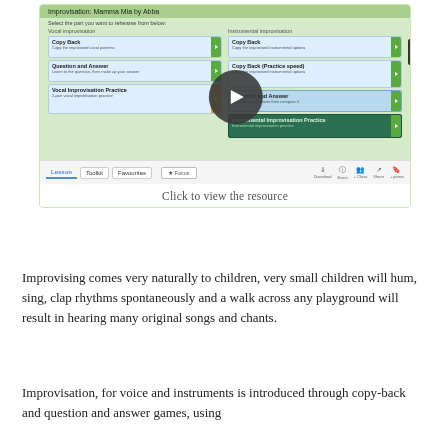[Figure (screenshot): Screenshot of an educational music resource titled 'Improvisation: Mamma Mia by Abba' showing vocal and instrumental improvisation options including Copy Back, Question and Answer, and Improvisation Practice panels, with a play button overlay and navigation bar with Lesson, Toolkit, Favourites tabs. Caption reads 'Click to view the resource'.]
Click to view the resource
Improvising comes very naturally to children, very small children will hum, sing, clap rhythms spontaneously and a walk across any playground will result in hearing many original songs and chants.
Improvisation, for voice and instruments is introduced through copy-back and question and answer games, using